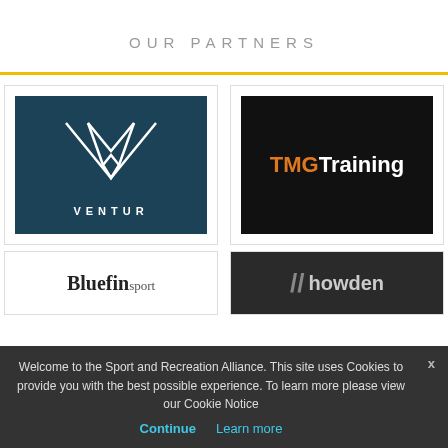OUR PARTNERS
[Figure (logo): Ventur logo — white geometric V-shape on dark teal background with text VENTUR below]
[Figure (logo): TMGTraining logo — orange TMG and white Training text on black background]
[Figure (logo): Bluefin Sport logo — partial view on light background]
[Figure (logo): Howden logo — double slash mark and howden text on dark background]
Welcome to the Sport and Recreation Alliance. This site uses Cookies to provide you with the best possible experience. To learn more please view our Cookie Notice